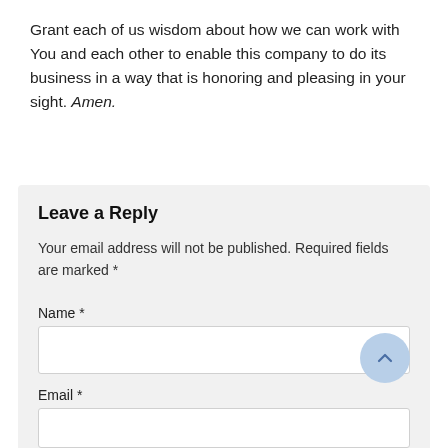Grant each of us wisdom about how we can work with You and each other to enable this company to do its business in a way that is honoring and pleasing in your sight. Amen.
Leave a Reply
Your email address will not be published. Required fields are marked *
Name *
Email *